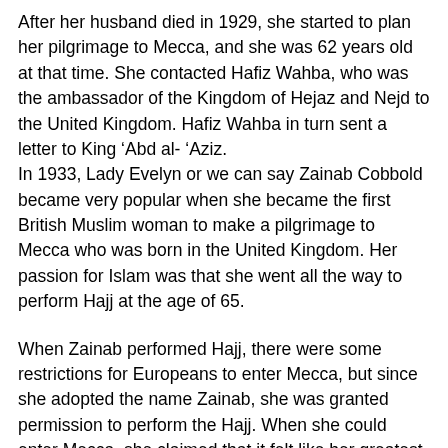After her husband died in 1929, she started to plan her pilgrimage to Mecca, and she was 62 years old at that time. She contacted Hafiz Wahba, who was the ambassador of the Kingdom of Hejaz and Nejd to the United Kingdom. Hafiz Wahba in turn sent a letter to King 'Abd al- 'Aziz. In 1933, Lady Evelyn or we can say Zainab Cobbold became very popular when she became the first British Muslim woman to make a pilgrimage to Mecca who was born in the United Kingdom. Her passion for Islam was that she went all the way to perform Hajj at the age of 65.
When Zainab performed Hajj, there were some restrictions for Europeans to enter Mecca, but since she adopted the name Zainab, she was granted permission to perform the Hajj. When she could enter Mecca, she claimed that it felt like her greatest wish had been fulfilled at last.
Zainab Cobbold wrote a book on her pilgrimage to Mecca, and this was the first book ever, written by an English woman on Hajj. It was published in 1934 and called “Pilgrimage to Mecca.”